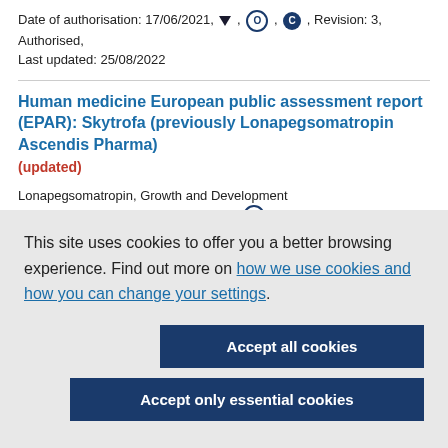Date of authorisation: 17/06/2021, ▼, O, C, Revision: 3, Authorised, Last updated: 25/08/2022
Human medicine European public assessment report (EPAR): Skytrofa (previously Lonapegsomatropin Ascendis Pharma) (updated)
Lonapegsomatropin, Growth and Development
Date of authorisation: 11/01/2022, ▼, O, Revision: 1, Authorised, Last
This site uses cookies to offer you a better browsing experience. Find out more on how we use cookies and how you can change your settings.
Accept all cookies
Accept only essential cookies